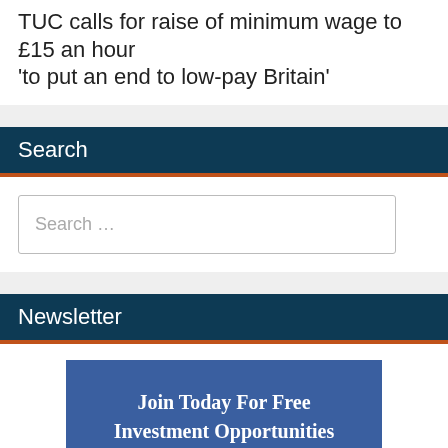TUC calls for raise of minimum wage to £15 an hour 'to put an end to low-pay Britain'
Search
Search …
Newsletter
Join Today For Free Investment Opportunities